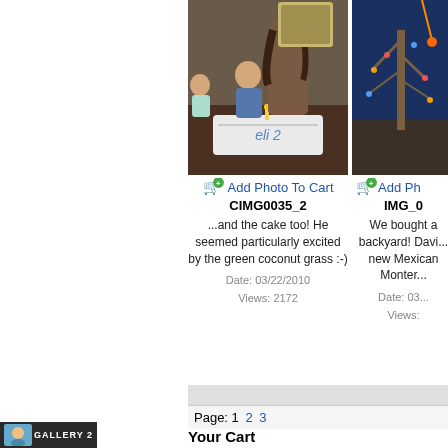[Figure (photo): Photo of woman and children at a table with a birthday cake (CIMG0035_2)]
Add Photo To Cart
CIMG0035_2
...and the cake too! He seemed particularly excited by the green coconut grass :-)
Date: 03/22/2010
Views: 2172
[Figure (photo): Photo of outdoor scene with tree lights (IMG_0...)]
Add Ph...
IMG_0...
We bought a backyard! Davi... new Mexican Monter...
Date: 03...
Views:...
Page: 1 2 3
Your Cart
You have 0 items in your cart
View Cart
GALLERY 2